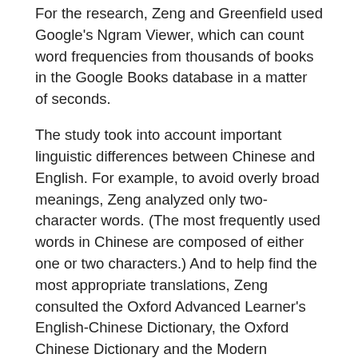For the research, Zeng and Greenfield used Google's Ngram Viewer, which can count word frequencies from thousands of books in the Google Books database in a matter of seconds.
The study took into account important linguistic differences between Chinese and English. For example, to avoid overly broad meanings, Zeng analyzed only two-character words. (The most frequently used words in Chinese are composed of either one or two characters.) And to help find the most appropriate translations, Zeng consulted the Oxford Advanced Learner's English-Chinese Dictionary, the Oxford Chinese Dictionary and the Modern Chinese Dictionary.
In addition, Zeng consulted two native Chinese speakers from different demographic profiles: a 26-year-old man with a law degree and a 58-year-old woman with a college degree in biology. They judged each of the selected words on its usage contexts, importance